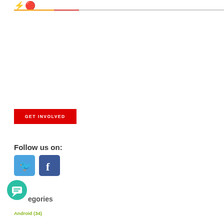[Figure (other): Header with lightning bolt icon (yellow) and fire/drop icon (orange-red), followed by a two-color horizontal rule (yellow-orange and gray)]
[Figure (other): Red 'GET INVOLVED' call-to-action button]
Follow us on:
[Figure (other): Twitter (blue) and Facebook (dark blue) social media icon buttons]
[Figure (other): Teal circular chat/message bubble icon]
egories
Android (34)